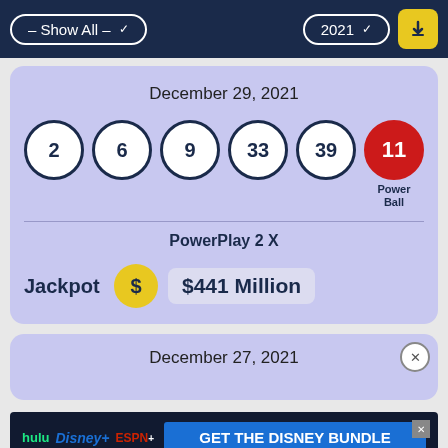– Show All –   2021
December 29, 2021
[Figure (infographic): Powerball lottery numbers for December 29 2021: 2, 6, 9, 33, 39 and Powerball 11. PowerPlay 2X. Jackpot $441 Million.]
December 27, 2021
[Figure (infographic): Advertisement banner: GET THE DISNEY BUNDLE with hulu, Disney+, ESPN+. Incl. Hulu (ad-supported) or Hulu (No Ads). Access content from each service separately. ©2021 Disney and its related entities.]